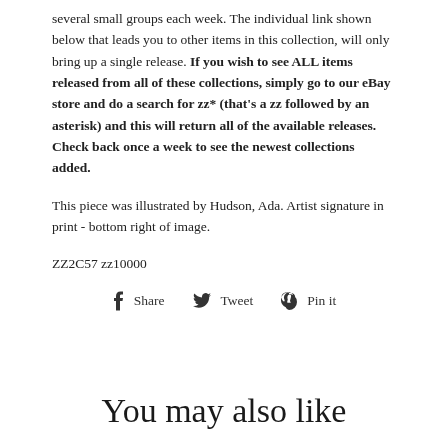several small groups each week. The individual link shown below that leads you to other items in this collection, will only bring up a single release. If you wish to see ALL items released from all of these collections, simply go to our eBay store and do a search for zz* (that’s a zz followed by an asterisk) and this will return all of the available releases. Check back once a week to see the newest collections added.
This piece was illustrated by Hudson, Ada. Artist signature in print - bottom right of image.
ZZ2C57 zz10000
f Share   🐦 Tweet   📌 Pin it
You may also like